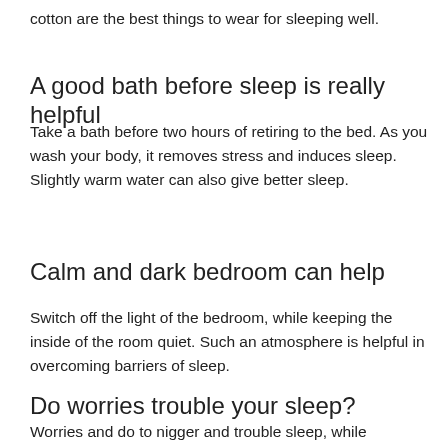cotton are the best things to wear for sleeping well.
A good bath before sleep is really helpful
Take a bath before two hours of retiring to the bed. As you wash your body, it removes stress and induces sleep. Slightly warm water can also give better sleep.
Calm and dark bedroom can help
Switch off the light of the bedroom, while keeping the inside of the room quiet. Such an atmosphere is helpful in overcoming barriers of sleep.
Do worries trouble your sleep?
Worries and stress to nigger and trouble sleep, while...